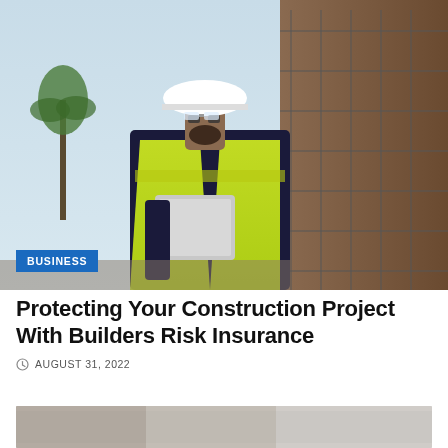[Figure (photo): Construction worker wearing a white hard hat, safety glasses, and a bright yellow high-visibility vest, holding a tablet, standing in front of a building under construction with scaffolding. A BUSINESS category badge is overlaid in the lower left of the image.]
Protecting Your Construction Project With Builders Risk Insurance
AUGUST 31, 2022
[Figure (photo): Partially visible second image at the bottom of the page, appears to be another construction-related photo, mostly cut off.]